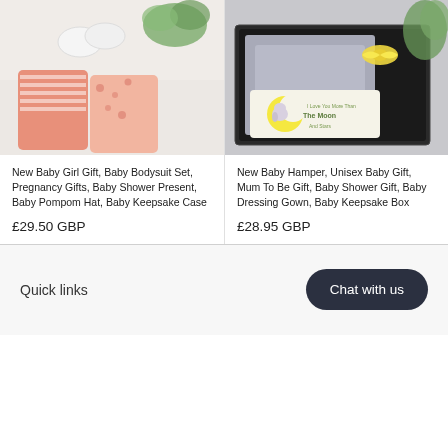[Figure (photo): Baby girl gift set with peach/pink striped and floral onesies, white knit booties, and greenery on a white background]
New Baby Girl Gift, Baby Bodysuit Set, Pregnancy Gifts, Baby Shower Present, Baby Pompom Hat, Baby Keepsake Case
£29.50 GBP
[Figure (photo): Unisex baby hamper gift box with grey dressing gown, yellow bow, and a decorative moon and stars plaque reading 'I Love You More Than The Moon And Stars']
New Baby Hamper, Unisex Baby Gift, Mum To Be Gift, Baby Shower Gift, Baby Dressing Gown, Baby Keepsake Box
£28.95 GBP
Quick links
Chat with us